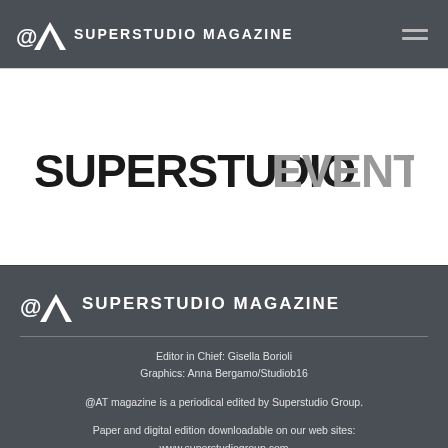@AT SUPERSTUDIO MAGAZINE
[Figure (logo): Superstudio Events logo with 'SUPERSTUDIO' in black and 'EVENTS' in gray bold uppercase text]
[Figure (logo): @AT Superstudio Magazine footer logo]
Editor in Chief: Gisella Borioli
Graphics: Anna Bergamo/Studiob16

@AT magazine is a periodical edited by Superstudio Group.

Paper and digital edition downloadable on our web sites:
www.superstudiogroup.com
www.superdesignshow.com